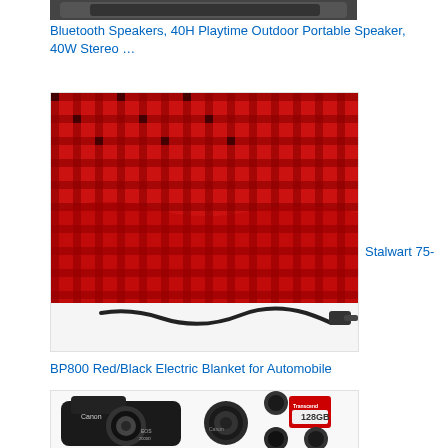[Figure (photo): Top portion of a Bluetooth speaker product image (cropped at top)]
Bluetooth Speakers, 40H Playtime Outdoor Portable Speaker, 40W Stereo …
[Figure (photo): Red and black plaid electric blanket with power cord and car adapter]
Stalwart 75-
BP800 Red/Black Electric Blanket for Automobile
[Figure (photo): Canon EOS 2000D DSLR camera with lenses, filters, and 128GB Transcend SD card]